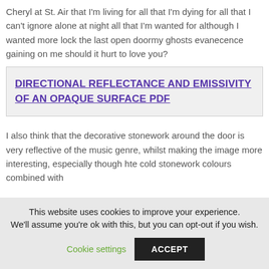Cheryl at St. Air that I'm living for all that I'm dying for all that I can't ignore alone at night all that I'm wanted for although I wanted more lock the last open doormy ghosts evanecence gaining on me should it hurt to love you?
DIRECTIONAL REFLECTANCE AND EMISSIVITY OF AN OPAQUE SURFACE PDF
I also think that the decorative stonework around the door is very reflective of the music genre, whilst making the image more interesting, especially though hte cold stonework colours combined with
This website uses cookies to improve your experience. We'll assume you're ok with this, but you can opt-out if you wish.
Cookie settings
ACCEPT